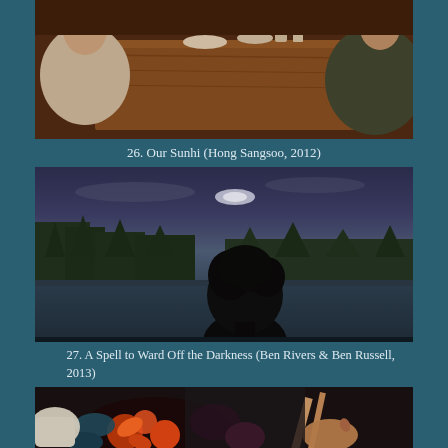[Figure (photo): Film still from Our Sunhi (Hong Sangsoo, 2012): two people sitting at a wooden rustic dining table with food and drinks, warm interior lighting]
26. Our Sunhi (Hong Sangsoo, 2012)
[Figure (photo): Film still from A Spell to Ward Off the Darkness (Ben Rivers & Ben Russell, 2013): silhouette of a person's head and shoulders seen from behind, against a twilight lakeside landscape with dark tree line and moody blue sky]
27. A Spell to Ward Off the Darkness (Ben Rivers & Ben Russell, 2013)
[Figure (photo): Film still (partial): colorful decorative scene with patterned fabric and objects, partially visible at bottom of page]